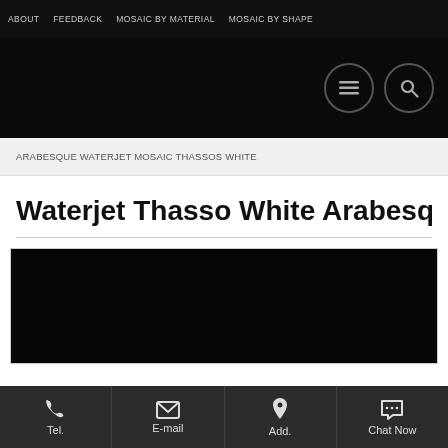ABOUT   FEEDBACK   MOSAIC BY MATERIAL   MOSAIC BY SHAPE
[Figure (screenshot): Black navigation hero area with hamburger menu icon and search icon in circles]
ARABESQUE WATERJET MOSAIC THASSOS WHITE
Waterjet Thasso White Arabesque M
[Figure (photo): Dark/black product image area for Waterjet Thasso White Arabesque Mosaic]
Tel.   E-mail   Add.   Chat Now